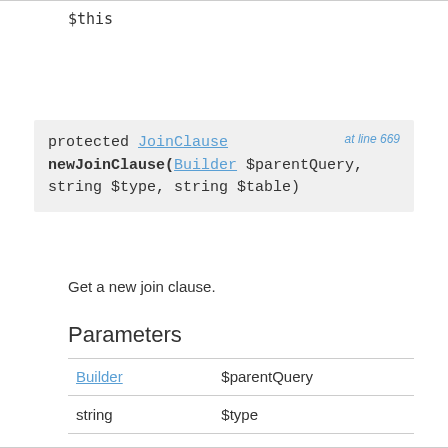$this
protected JoinClause newJoinClause(Builder $parentQuery, string $type, string $table) at line 669
Get a new join clause.
Parameters
|  |  |
| --- | --- |
| Builder | $parentQuery |
| string | $type |
| string | $table |
Return Value
JoinClause